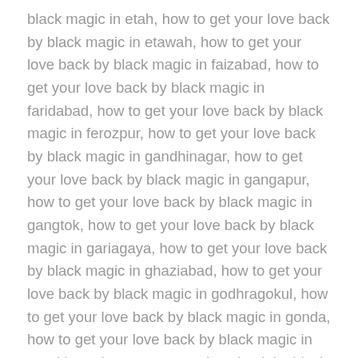black magic in etah, how to get your love back by black magic in etawah, how to get your love back by black magic in faizabad, how to get your love back by black magic in faridabad, how to get your love back by black magic in ferozpur, how to get your love back by black magic in gandhinagar, how to get your love back by black magic in gangapur, how to get your love back by black magic in gangtok, how to get your love back by black magic in gariagaya, how to get your love back by black magic in ghaziabad, how to get your love back by black magic in godhragokul, how to get your love back by black magic in gonda, how to get your love back by black magic in gorakhpur, how to get your love back by black magic in greater mumbai, how to get your love back by black magic in greater noida, how to get your love back by black magic in gulbarga, how to get your love back by black magic in gulmarg, how to get your love back by black magic in guna, how to get your love back by black magic in guntur, how to get your love back by black magic in gurgaon, how to get your love back by black magic in guwahati, how to get your love